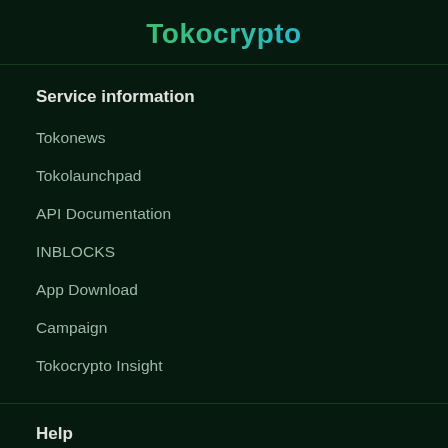Tokocrypto
Service information
Tokonews
Tokolaunchpad
API Documentation
INBLOCKS
App Download
Campaign
Tokocrypto Insight
Help
Support Center